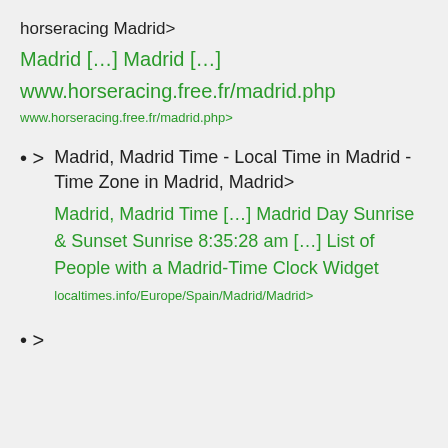horseracing Madrid>
Madrid […] Madrid […]
www.horseracing.free.fr/madrid.php
www.horseracing.free.fr/madrid.php>
>
Madrid, Madrid Time - Local Time in Madrid - Time Zone in Madrid, Madrid>
Madrid, Madrid Time […] Madrid Day Sunrise & Sunset Sunrise 8:35:28 am […] List of People with a Madrid-Time Clock Widget
localtimes.info/Europe/Spain/Madrid/Madrid>
>